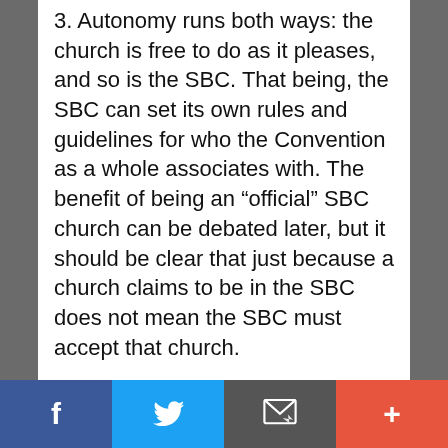3. Autonomy runs both ways: the church is free to do as it pleases, and so is the SBC. That being, the SBC can set its own rules and guidelines for who the Convention as a whole associates with. The benefit of being an “official” SBC church can be debated later, but it should be clear that just because a church claims to be in the SBC does not mean the SBC must accept that church.
Herein lies our overall problem, though: we are more connected than our by-laws and constitution formally make us. Any action
Facebook | Twitter | Email | More